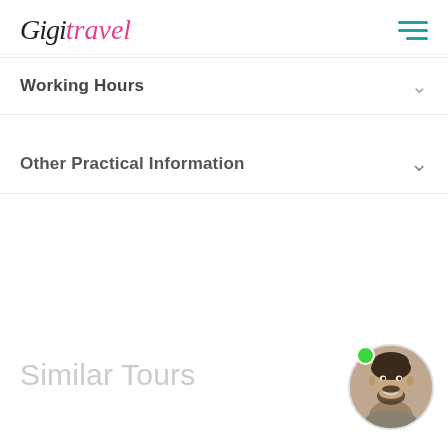GigiTravel
Working Hours
Other Practical Information
Similar Tours
[Figure (photo): Circular avatar photo of a smiling young man with dark beard and hair, with a green online indicator dot in the top-left of the circle]